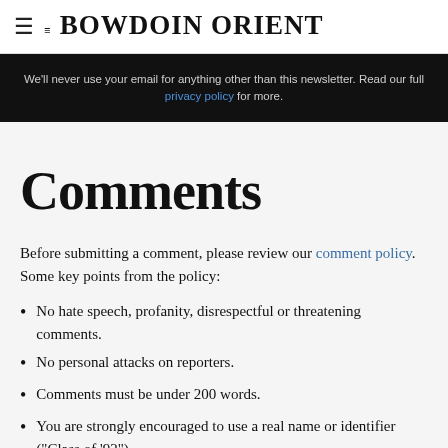≡ THE BOWDOIN ORIENT
We'll never use your email for anything other than this newsletter. Read our full privacy policy for more.
Comments
Before submitting a comment, please review our comment policy. Some key points from the policy:
No hate speech, profanity, disrespectful or threatening comments.
No personal attacks on reporters.
Comments must be under 200 words.
You are strongly encouraged to use a real name or identifier ("Class of '92").